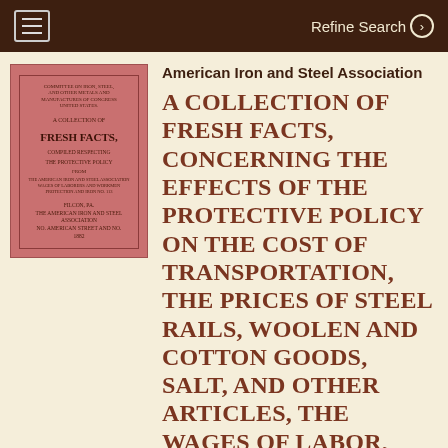Refine Search
[Figure (photo): Scanned cover of a book with reddish-pink cover, titled 'A Collection of Fresh Facts' about the protective policy effects on transportation, steel rails, woolen and cotton goods, salt, wages of labor, etc. Published by the American Iron and Steel Association.]
American Iron and Steel Association
A COLLECTION OF FRESH FACTS, CONCERNING THE EFFECTS OF THE PROTECTIVE POLICY ON THE COST OF TRANSPORTATION, THE PRICES OF STEEL RAILS, WOOLEN AND COTTON GOODS, SALT, AND OTHER ARTICLES, THE WAGES OF LABOR, ETC., ETC. Tariff Tract No. 2, 1882 [cover title]